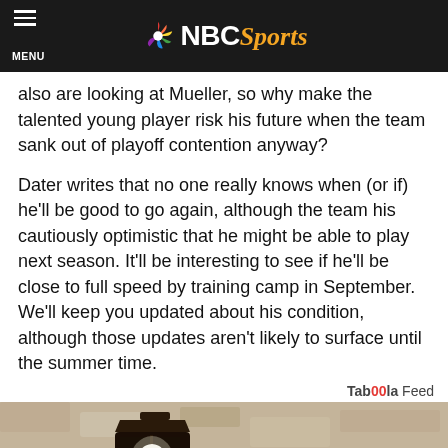NBC Sports
also are looking at Mueller, so why make the talented young player risk his future when the team sank out of playoff contention anyway?
Dater writes that no one really knows when (or if) he'll be good to go again, although the team his cautiously optimistic that he might be able to play next season. It'll be interesting to see if he'll be close to full speed by training camp in September. We'll keep you updated about his condition, although those updates aren't likely to surface until the summer time.
Taboola Feed
[Figure (photo): Outdoor wall-mounted lamp fixture against a textured stucco wall, with a white LED bulb visible inside the dark metal lantern housing.]